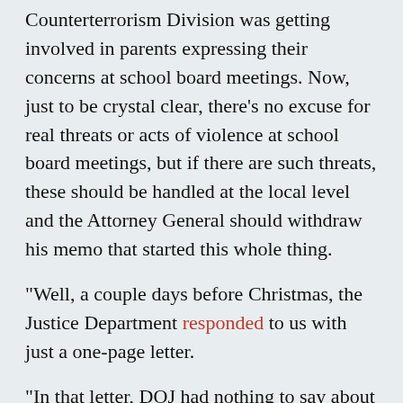Counterterrorism Division was getting involved in parents expressing their concerns at school board meetings. Now, just to be crystal clear, there's no excuse for real threats or acts of violence at school board meetings, but if there are such threats, these should be handled at the local level and the Attorney General should withdraw his memo that started this whole thing.
"Well, a couple days before Christmas, the Justice Department responded to us with just a one-page letter.
"In that letter, DOJ had nothing to say about why the FBI's Counterterrorism Division was involved in local school-board matters. DOJ